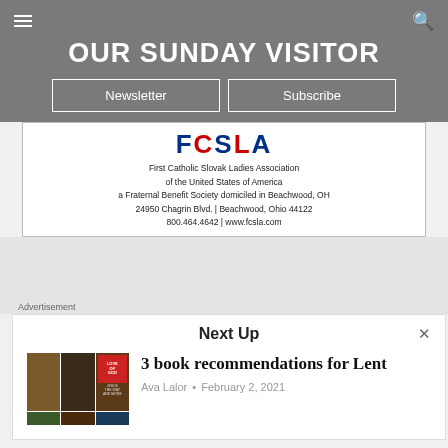OUR SUNDAY VISITOR
Newsletter | Subscribe
[Figure (other): First Catholic Slovak Ladies Association advertisement banner with FCSLA logo letters in red and blue, organization name and address: First Catholic Slovak Ladies Association of the United States of America, a Fraternal Benefit Society domiciled in Beachwood, OH, 24950 Chagrin Blvd. | Beachwood, Ohio 44122, 800.464.4642 | www.fcsla.com]
Advertisement
Next Up
[Figure (photo): Three book covers for Lent recommendations]
3 book recommendations for Lent
Ava Lalor • February 2, 2021